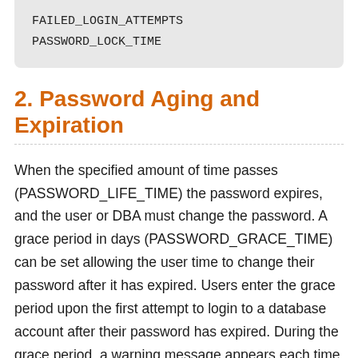FAILED_LOGIN_ATTEMPTS
PASSWORD_LOCK_TIME
2. Password Aging and Expiration
When the specified amount of time passes (PASSWORD_LIFE_TIME) the password expires, and the user or DBA must change the password. A grace period in days (PASSWORD_GRACE_TIME) can be set allowing the user time to change their password after it has expired. Users enter the grace period upon the first attempt to login to a database account after their password has expired. During the grace period, a warning message appears each time users try to log in to their